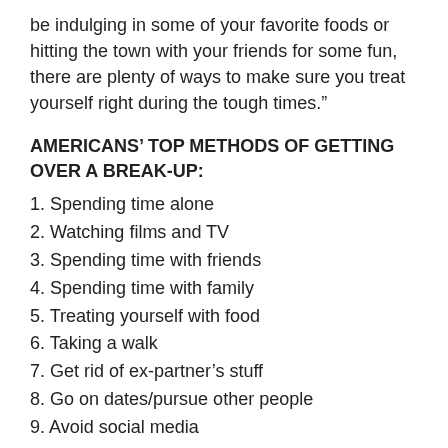be indulging in some of your favorite foods or hitting the town with your friends for some fun, there are plenty of ways to make sure you treat yourself right during the tough times.”
AMERICANS’ TOP METHODS OF GETTING OVER A BREAK-UP:
1. Spending time alone
2. Watching films and TV
3. Spending time with friends
4. Spending time with family
5. Treating yourself with food
6. Taking a walk
7. Get rid of ex-partner’s stuff
8. Go on dates/pursue other people
9. Avoid social media
10. Browse on dating apps